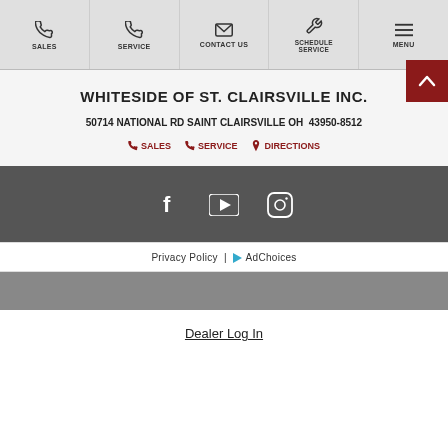SALES | SERVICE | CONTACT US | SCHEDULE SERVICE | MENU
WHITESIDE OF ST. CLAIRSVILLE INC.
50714 NATIONAL RD SAINT CLAIRSVILLE OH  43950-8512
SALES   SERVICE   DIRECTIONS
[Figure (infographic): Dark gray social media bar with Facebook, YouTube, and Instagram icons in white]
Privacy Policy | AdChoices
Dealer Log In